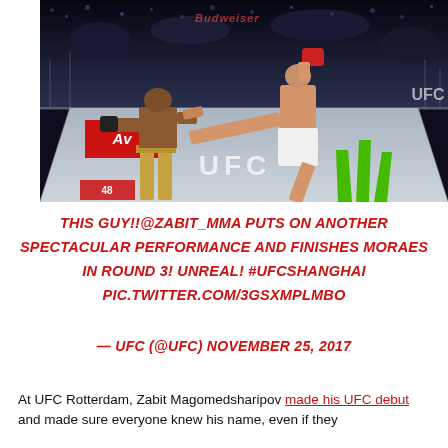[Figure (photo): UFC fight photo showing two fighters in the octagon — one in yellow shorts standing, the other delivering a flying kick. Monster Energy and UFC logos visible on the canvas. Budweiser branding in background.]
THIS GUY!!@ZABIT_MMA PUTS ON ANOTHER SPECTACULAR PERFORMANCE AND FINISHES MORAES IN ROUND 3! UNREAL! #UFCSHANGHAI PIC.TWITTER.COM/3GSXMPLMBO
— UFC (@UFC) NOVEMBER 25, 2017
At UFC Rotterdam, Zabit Magomedsharipov made his UFC debut and made sure everyone knew his name, even if they